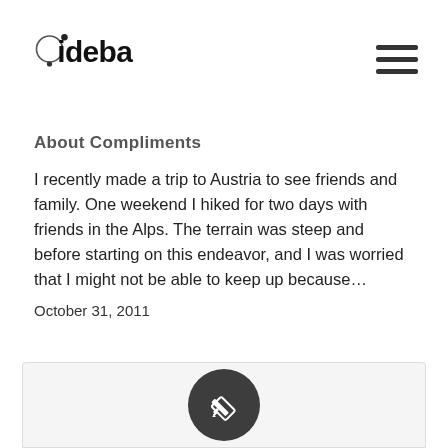[Figure (logo): ideba logo — circle with dot and letter i, followed by bold 'deba' wordmark]
About Compliments
I recently made a trip to Austria to see friends and family. One weekend I hiked for two days with friends in the Alps. The terrain was steep and before starting on this endeavor, and I was worried that I might not be able to keep up because…
October 31, 2011
[Figure (illustration): Partially visible card area with dark pencil/edit icon circle at the bottom of the page]